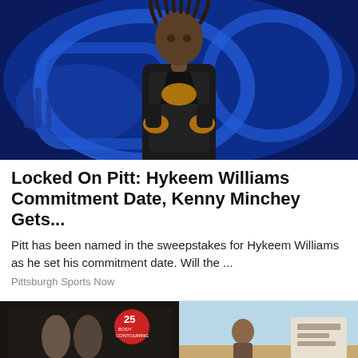[Figure (photo): A football player in dark Pitt uniform with yellow Nike gloves posing in front of a blue illuminated Pitt logo backdrop]
Locked On Pitt: Hykeem Williams Commitment Date, Kenny Minchey Gets...
Pitt has been named in the sweepstakes for Hykeem Williams as he set his commitment date. Will the ...
Pittsburgh Sports Now
[Figure (photo): Two side-by-side images: left shows a dark display with '25 Body Contouring' text and body images; right shows a bright outdoor setting with a person and documents]